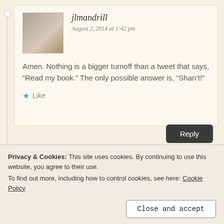jlmandrill
August 2, 2014 at 1:42 pm
Amen. Nothing is a bigger turnoff than a tweet that says, “Read my book.” The only possible answer is, “Shan’t!”
★ Like
Reply
Tara Sparling
Privacy & Cookies: This site uses cookies. By continuing to use this website, you agree to their use.
To find out more, including how to control cookies, see here: Cookie Policy
Close and accept